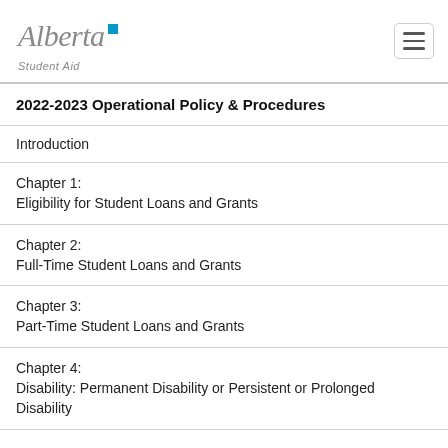Alberta Student Aid
2022-2023 Operational Policy & Procedures
Introduction
Chapter 1:
Eligibility for Student Loans and Grants
Chapter 2:
Full-Time Student Loans and Grants
Chapter 3:
Part-Time Student Loans and Grants
Chapter 4:
Disability: Permanent Disability or Persistent or Prolonged Disability